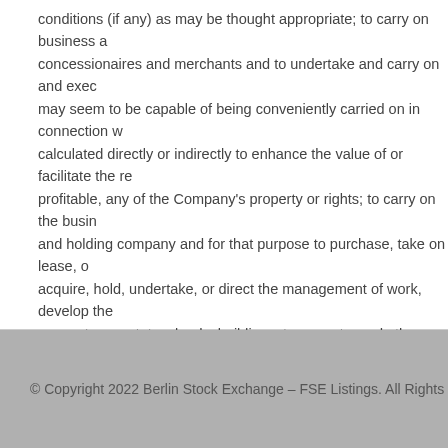conditions (if any) as may be thought appropriate; to carry on business a concessionaires and merchants and to undertake and carry on and exec may seem to be capable of being conveniently carried on in connection w calculated directly or indirectly to enhance the value of or facilitate the re profitable, any of the Company's property or rights; to carry on the busin and holding company and for that purpose to purchase, take on lease, o acquire, hold, undertake, or direct the management of work, develop the account any estates, lands, buildings, tenements, and other real property description, whether of freehold, leasehold, or other tenure, and whereso interests therein, rights and powers conferred by, or incident to, the owne acquire, trade and deal with, or hold stocks, shares, bonds, debentures, securities of all kinds issued in any country in any part of the world.
If you are looking for financing options between $1 million and $500 milli info@fselistings.com and ask about the Deutsche Capital Partner listing
© Copyright 2022 Berlin Stock Exchange – FSE Listings. All Rights Reserv